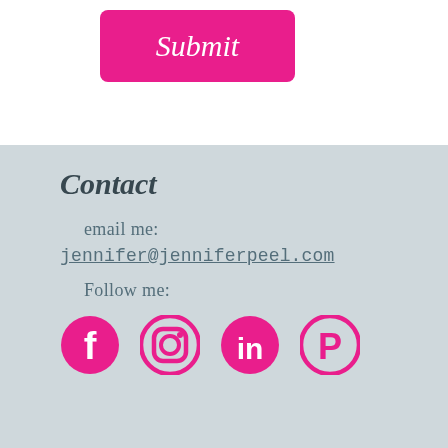[Figure (other): Pink submit button with italic white text 'Submit']
Contact
email me:
jennifer@jenniferpeel.com
Follow me:
[Figure (other): Social media icons: Facebook, Instagram, LinkedIn, Pinterest — all in pink]